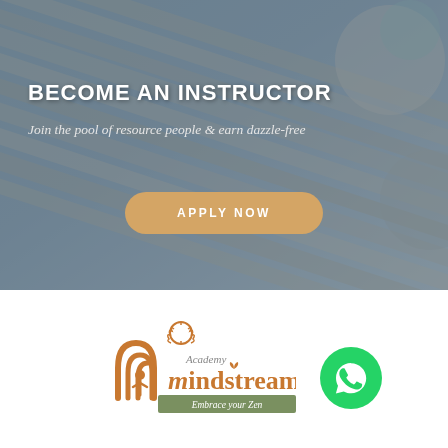[Figure (photo): Hero banner with diagonal wooden plank background, overlaid with semi-transparent dark tint. Contains heading 'BECOME AN INSTRUCTOR', subtitle text, and an 'APPLY NOW' button.]
BECOME AN INSTRUCTOR
Join the pool of resource people & earn dazzle-free
APPLY NOW
[Figure (logo): Mindstream Academy logo with orange/brown arch and figure icon, text 'mindstream', 'Academy' above, and 'Embrace your Zen' tagline on green banner below.]
[Figure (other): Green circular WhatsApp icon button on the right side.]